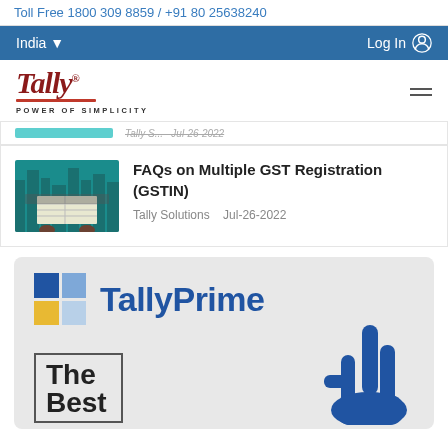Toll Free 1800 309 8859 / +91 80 25638240
India   Log In
[Figure (logo): Tally logo with italic text 'Tally' and tagline 'POWER OF SIMPLICITY']
FAQs on Multiple GST Registration (GSTIN)
Tally Solutions  Jul-26-2022
[Figure (illustration): TallyPrime banner with logo blocks (blue, yellow, light blue), TallyPrime text in blue, and 'The Best' text with a blue hand cursor graphic]